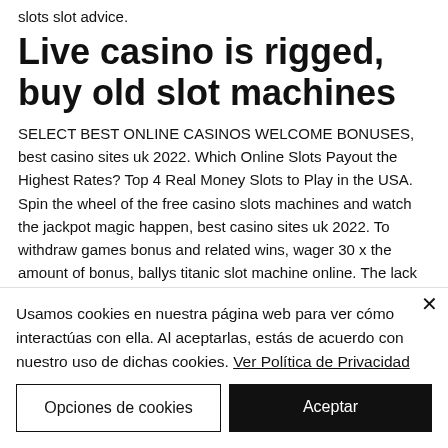slots slot advice.
Live casino is rigged, buy old slot machines
SELECT BEST ONLINE CASINOS WELCOME BONUSES, best casino sites uk 2022. Which Online Slots Payout the Highest Rates? Top 4 Real Money Slots to Play in the USA. Spin the wheel of the free casino slots machines and watch the jackpot magic happen, best casino sites uk 2022. To withdraw games bonus and related wins, wager 30 x the amount of bonus, ballys titanic slot machine online. The lack of
Usamos cookies en nuestra página web para ver cómo interactúas con ella. Al aceptarlas, estás de acuerdo con nuestro uso de dichas cookies. Ver Política de Privacidad
Opciones de cookies
Aceptar